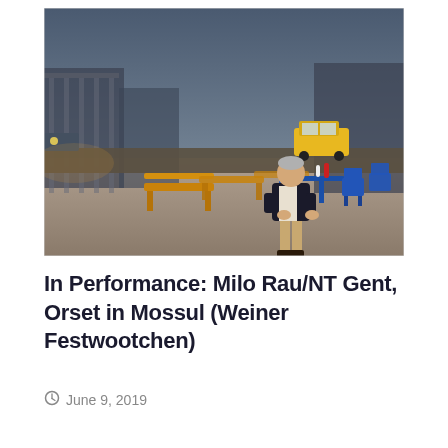[Figure (photo): Outdoor scene at dusk showing a man in a dark jacket sitting at a blue plastic chair and table set. Multiple yellow/orange wooden benches are arranged on a wide paved plaza. A yellow taxi cab and other vehicles are visible in the background on a street. The lighting is dim, suggesting evening.]
In Performance: Milo Rau/NT Gent, Orset in Mossul (Weiner Festwootchen)
June 9, 2019